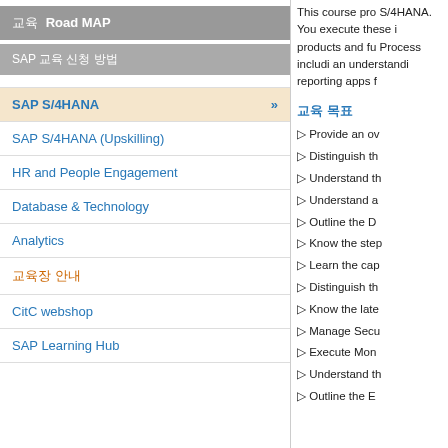교육 Road MAP
SAP 교육 신청 방법
SAP S/4HANA
SAP S/4HANA (Upskilling)
HR and People Engagement
Database & Technology
Analytics
교육장 안내
CitC webshop
SAP Learning Hub
This course pro S/4HANA. You execute these i products and fu Process includi an understandi reporting apps f
교육 목표
Provide an ov
Distinguish th
Understand th
Understand a
Outline the D
Know the ste
Learn the cap
Distinguish th
Know the late
Manage Secu
Execute Mon
Understand th
Outline the E